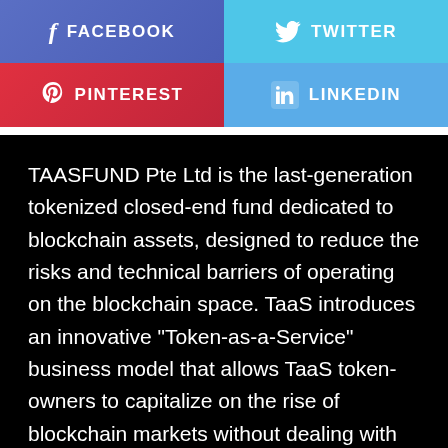[Figure (infographic): Social media sharing buttons: Facebook (purple), Twitter (light blue), Pinterest (red), LinkedIn (light blue), arranged in a 2x2 grid]
TAASFUND Pte Ltd is the last-generation tokenized closed-end fund dedicated to blockchain assets, designed to reduce the risks and technical barriers of operating on the blockchain space. TaaS introduces an innovative “Token-as-a-Service” business model that allows TaaS token-owners to capitalize on the rise of blockchain markets without dealing with the hurdles, risks and technical barriers associated with owning, transferring and trading blockchain assets.